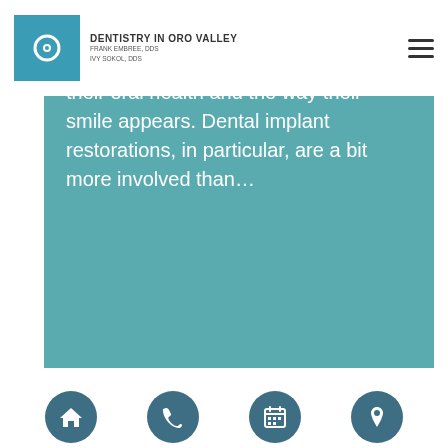DENTISTRY IN ORO VALLEY
their oral health and the way their smile appears. Dental implant restorations, in particular, are a bit more involved than…
10371 N Oracle Rd #101
Oro Valley, AZ 85737
Get Directions
[Figure (screenshot): Bottom navigation bar with four circular dark teal icons: home, phone, calendar, and location pin]